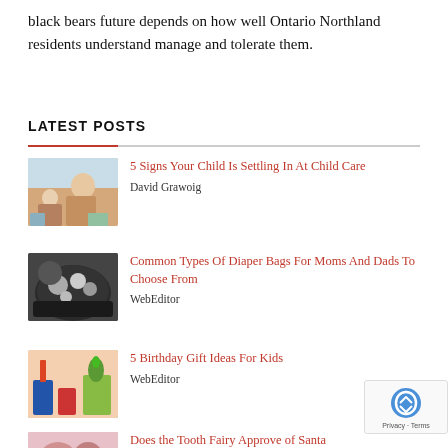black bears future depends on how well Ontario Northland residents understand manage and tolerate them.
LATEST POSTS
5 Signs Your Child Is Settling In At Child Care
David Grawoig
Common Types Of Diaper Bags For Moms And Dads To Choose From
WebEditor
5 Birthday Gift Ideas For Kids
WebEditor
Does the Tooth Fairy Approve of Santa